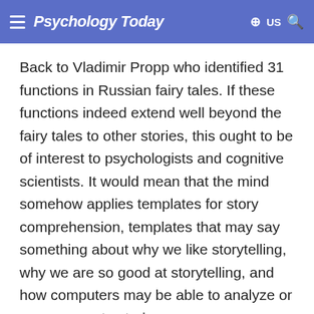Psychology Today
Back to Vladimir Propp who identified 31 functions in Russian fairy tales. If these functions indeed extend well beyond the fairy tales to other stories, this ought to be of interest to psychologists and cognitive scientists. It would mean that the mind somehow applies templates for story comprehension, templates that may say something about why we like storytelling, why we are so good at storytelling, and how computers may be able to analyze or even generate stories.
Let me do justice to the title of this post, meanwhile illustrating why Propp is my academic